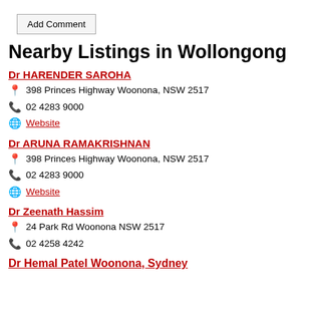Add Comment
Nearby Listings in Wollongong
Dr HARENDER SAROHA
398 Princes Highway Woonona, NSW 2517
02 4283 9000
Website
Dr ARUNA RAMAKRISHNAN
398 Princes Highway Woonona, NSW 2517
02 4283 9000
Website
Dr Zeenath Hassim
24 Park Rd Woonona NSW 2517
02 4258 4242
Dr Hemal Patel Woonona, Sydney